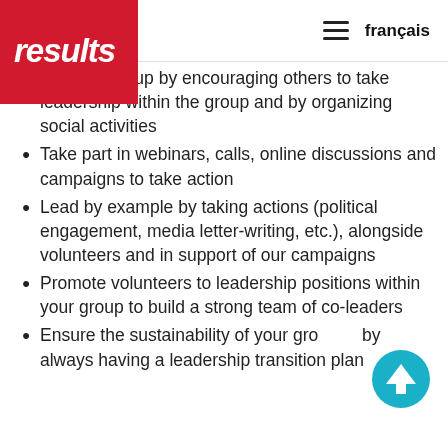results | français
[Figure (logo): Results logo - red rounded rectangle with white italic bold text 'results' and speech bubble shape]
ability of group by encouraging others to take leadership within the group and by organizing social activities
Take part in webinars, calls, online discussions and campaigns to take action
Lead by example by taking actions (political engagement, media letter-writing, etc.), alongside volunteers and in support of our campaigns
Promote volunteers to leadership positions within your group to build a strong team of co-leaders
Ensure the sustainability of your group by always having a leadership transition plan
[Figure (other): Teal/cyan circular back-to-top button with upward arrow icon]